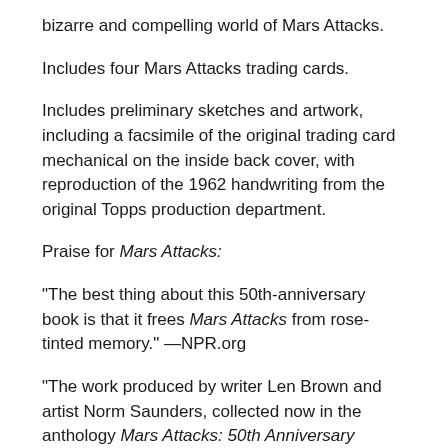bizarre and compelling world of Mars Attacks.
Includes four Mars Attacks trading cards.
Includes preliminary sketches and artwork, including a facsimile of the original trading card mechanical on the inside back cover, with reproduction of the 1962 handwriting from the original Topps production department.
Praise for Mars Attacks:
"The best thing about this 50th-anniversary book is that it frees Mars Attacks from rose-tinted memory." —NPR.org
"The work produced by writer Len Brown and artist Norm Saunders, collected now in the anthology Mars Attacks: 50th Anniversary Collection . . . continues to pass muster as a lurid snapshot of sci-fi paranoia at its most pulp-fictiony." —Wired.com